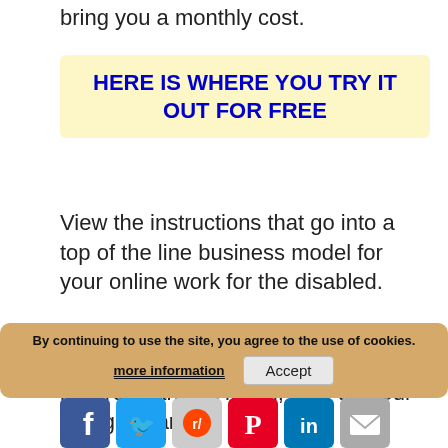bring you a monthly cost.
HERE IS WHERE YOU TRY IT OUT FOR FREE
View the instructions that go into a top of the line business model for your online work for the disabled.
Click here for your portal into a new life! You can just log in, take the tour and get started!
Please feel free to ask questions about this opportunity or leave a comment and tell me what you think. And, please, do tell of any income at home scams you run into!
By continuing to use the site, you agree to the use of cookies. more information Accept
[Figure (other): Social media share icons: Facebook, Twitter, Reddit, Pinterest, LinkedIn, Email]